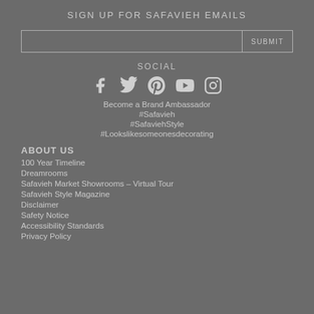SIGN UP FOR SAFAVIEH EMAILS
SOCIAL
[Figure (other): Social media icons: Facebook, Twitter, Pinterest, YouTube, Instagram]
Become a Brand Ambassador
#Safavieh
#SafaviehStyle
#Lookslikesomeonesdecorating
ABOUT US
100 Year Timeline
Dreamrooms
Safavieh Market Showrooms – Virtual Tour
Safavieh Style Magazine
Disclaimer
Safety Notice
Accessibility Standards
Privacy Policy